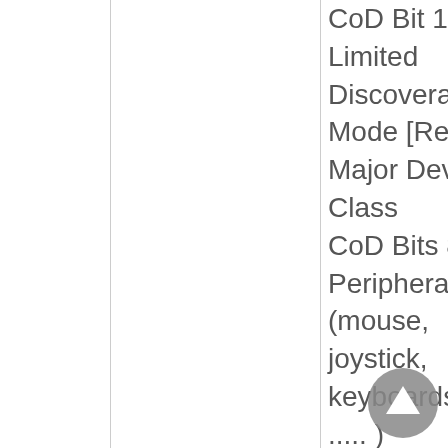CoD Bit 13: Limited Discoverability Mode [Ref # Major Device Class CoD Bits 8, Peripheral (mouse, joystick, keyboards, ..... ) Minor Device Class CoD Bit 7: Point...